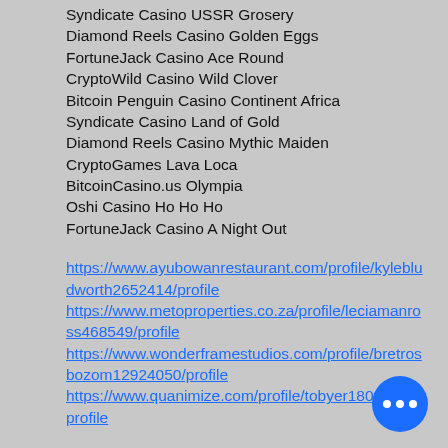Syndicate Casino USSR Grosery
Diamond Reels Casino Golden Eggs
FortuneJack Casino Ace Round
CryptoWild Casino Wild Clover
Bitcoin Penguin Casino Continent Africa
Syndicate Casino Land of Gold
Diamond Reels Casino Mythic Maiden
CryptoGames Lava Loca
BitcoinCasino.us Olympia
Oshi Casino Ho Ho Ho
FortuneJack Casino A Night Out
https://www.ayubowanrestaurant.com/profile/kylebludworth2652414/profile
https://www.metoproperties.co.za/profile/leciamanross468549/profile
https://www.wonderframestudios.com/profile/bretrosbozom12924050/profile
https://www.quanimize.com/profile/tobyer18081156/profile